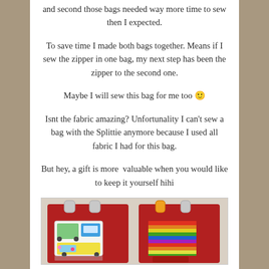and second those bags needed way more time to sew then I expected.
To save time I made both bags together. Means if I sew the zipper in one bag, my next step has been the zipper to the second one.
Maybe I will sew this bag for me too 🙂
Isnt the fabric amazing? Unfortunality I can't sew a bag with the Splittie anymore because I used all fabric I had for this bag.
But hey, a gift is more  valuable when you would like to keep it yourself hihi
[Figure (photo): Two red handmade bags side by side. The left bag has a white pocket with colorful VW bus / camper van print fabric. The right bag has a striped colorful fabric pocket. Both bags are red with handles visible at the top.]